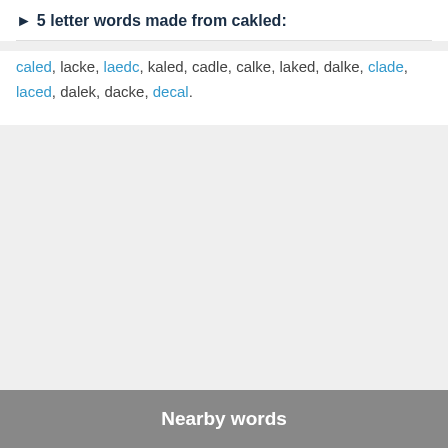5 letter words made from cakled:
caled, lacke, laedc, kaled, cadle, calke, laked, dalke, clade, laced, dalek, dacke, decal.
Nearby words